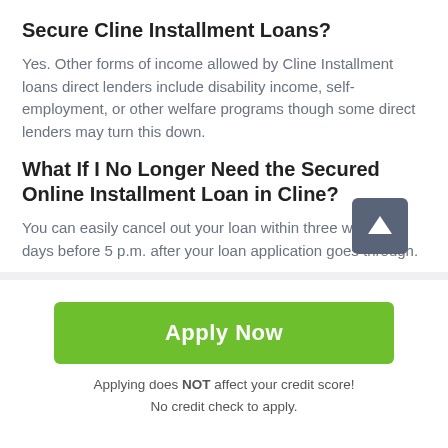Secure Cline Installment Loans?
Yes. Other forms of income allowed by Cline Installment loans direct lenders include disability income, self-employment, or other welfare programs though some direct lenders may turn this down.
What If I No Longer Need the Secured Online Installment Loan in Cline?
You can easily cancel out your loan within three working days before 5 p.m. after your loan application goes through.
[Figure (other): Scroll-to-top arrow button, dark grey square with white upward arrow]
Apply Now
Applying does NOT affect your credit score!
No credit check to apply.